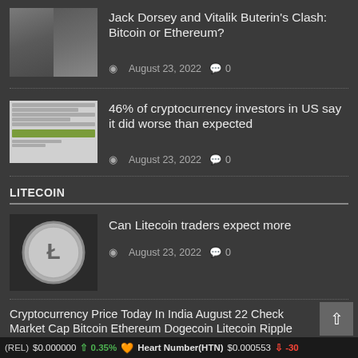[Figure (photo): Thumbnail of Jack Dorsey and Vitalik Buterin face photos side by side]
Jack Dorsey and Vitalik Buterin's Clash: Bitcoin or Ethereum?
August 23, 2022   0
[Figure (photo): Thumbnail of a document/report page with text and a green chart bar]
46% of cryptocurrency investors in US say it did worse than expected
August 23, 2022   0
LITECOIN
[Figure (photo): Thumbnail of a silver Litecoin coin on a gravel surface]
Can Litecoin traders expect more
August 23, 2022   0
Cryptocurrency Price Today In India August 22 Check Market Cap Bitcoin Ethereum Dogecoin Litecoin Ripple EOS Prices Gainer Loser Coins and More Win...
(REL)  $0.000000  ↑ 0.35%  ♥ Heart Number(HTN)  $0.000553  ↓ -30